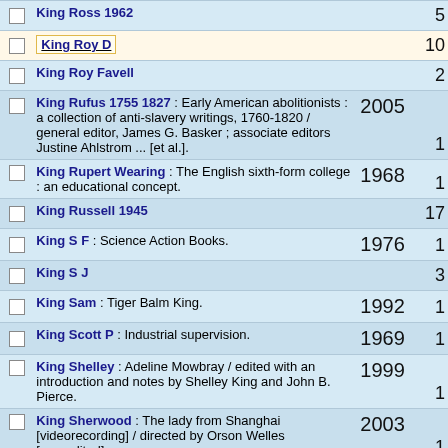|  | Entry | Year | Count |
| --- | --- | --- | --- |
| ☐ | King Ross 1962 |  | 5 |
| ☐ | King Roy D |  | 10 |
| ☐ | King Roy Favell |  | 2 |
| ☐ | King Rufus 1755 1827 : Early American abolitionists : a collection of anti-slavery writings, 1760-1820 / general editor, James G. Basker ; associate editors Justine Ahlstrom ... [et al.]. | 2005 | 1 |
| ☐ | King Rupert Wearing : The English sixth-form college : an educational concept. | 1968 | 1 |
| ☐ | King Russell 1945 |  | 17 |
| ☐ | King S F : Science Action Books. | 1976 | 1 |
| ☐ | King S J |  | 3 |
| ☐ | King Sam : Tiger Balm King. | 1992 | 1 |
| ☐ | King Scott P : Industrial supervision. | 1969 | 1 |
| ☐ | King Shelley : Adeline Mowbray / edited with an introduction and notes by Shelley King and John B. Pierce. | 1999 | 1 |
| ☐ | King Sherwood : The lady from Shanghai [videorecording] / directed by Orson Welles [uncredited]. | 2003 | 1 |